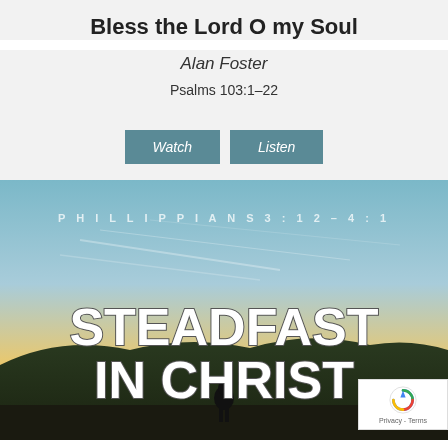Bless the Lord O my Soul
Alan Foster
Psalms 103:1-22
[Figure (screenshot): Two buttons: Watch and Listen, styled in teal/slate blue]
[Figure (photo): Sermon graphic with sunset landscape, silhouette of person, text PHILLIPPIANS 3:12 – 4:1 at top, large bold text STEADFAST IN CHRIST overlaid on image]